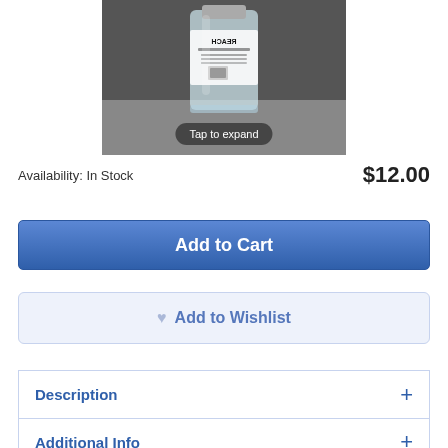[Figure (photo): Product photo of a clear plastic bottle with a label showing 'REACH' text, viewed from slightly above. A 'Tap to expand' overlay button appears at the bottom of the image.]
Availability: In Stock
$12.00
Add to Cart
Add to Wishlist
Description
Additional Info